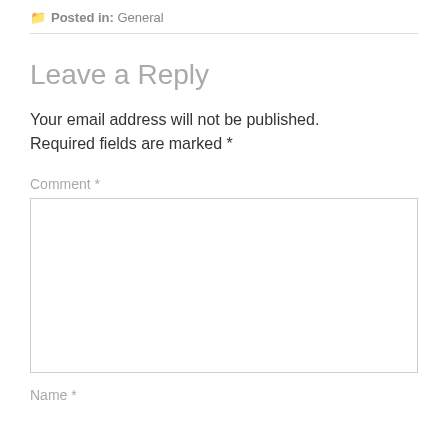Posted in: General
Leave a Reply
Your email address will not be published. Required fields are marked *
Comment *
Name *